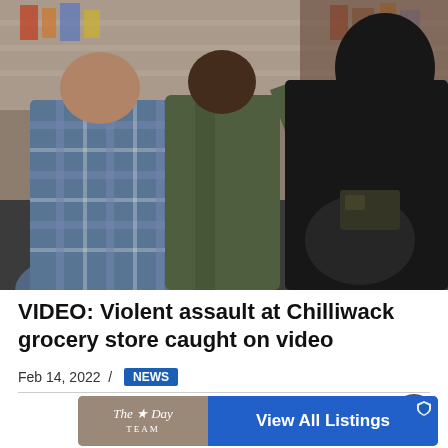[Figure (photo): Video still from inside a grocery store showing three people appearing to be involved in a physical altercation. A person in a blue plaid shirt is seen from behind on the left, a person in a green jacket in the center, and a person in black clothing on the right. Store shelves are visible in the background.]
VIDEO: Violent assault at Chilliwack grocery store caught on video
Feb 14, 2022 / NEWS
[Figure (other): Advertisement banner for 'The Day Team' with a blue button reading 'View All Listings' and a real estate logo.]